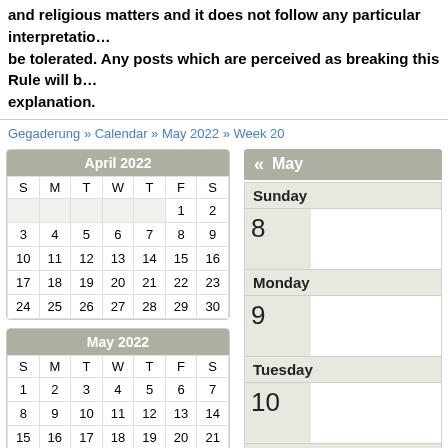and religious matters and it does not follow any particular interpretation. be tolerated. Any posts which are perceived as breaking this Rule will be explanation.
Gegaderung » Calendar » May 2022 » Week 20
| S | M | T | W | T | F | S |
| --- | --- | --- | --- | --- | --- | --- |
|  |  |  |  | 1 | 2 |
| 3 | 4 | 5 | 6 | 7 | 8 | 9 |
| 10 | 11 | 12 | 13 | 14 | 15 | 16 |
| 17 | 18 | 19 | 20 | 21 | 22 | 23 |
| 24 | 25 | 26 | 27 | 28 | 29 | 30 |
| S | M | T | W | T | F | S |
| --- | --- | --- | --- | --- | --- | --- |
| 1 | 2 | 3 | 4 | 5 | 6 | 7 |
| 8 | 9 | 10 | 11 | 12 | 13 | 14 |
| 15 | 16 | 17 | 18 | 19 | 20 | 21 |
| 22 | 23 | 24 | 25 | 26 | 27 | 28 |
| 29 | 30 | 31 |  |  |  |  |
« May
Sunday
8
Monday
9
Tuesday
10
Wednesday